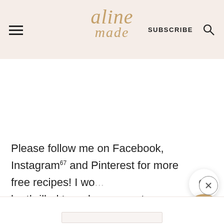aline made — SUBSCRIBE [search icon]
Please follow me on Facebook, Instagram67 and Pinterest for more free recipes! I wo... be thrilled to welcome you to my community!